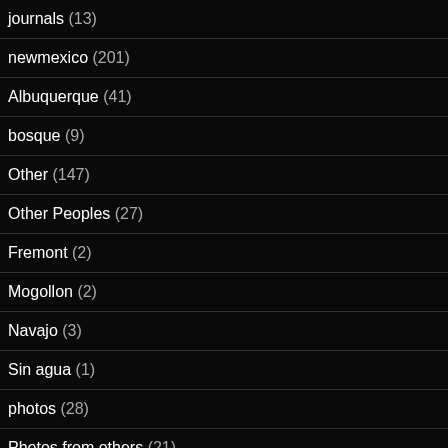journals (13)
newmexico (201)
Albuquerque (41)
bosque (9)
Other (147)
Other Peoples (27)
Fremont (2)
Mogollon (2)
Navajo (3)
Sin agua (1)
photos (28)
Photos from others (21)
Q&A (8)